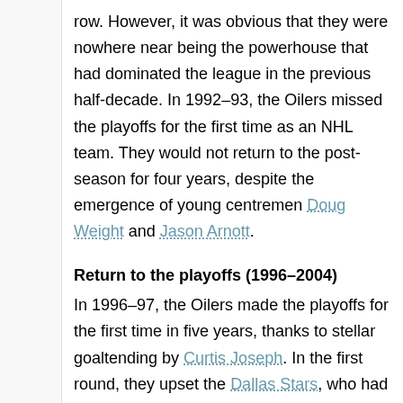row. However, it was obvious that they were nowhere near being the powerhouse that had dominated the league in the previous half-decade. In 1992–93, the Oilers missed the playoffs for the first time as an NHL team. They would not return to the post-season for four years, despite the emergence of young centremen Doug Weight and Jason Arnott.
Return to the playoffs (1996–2004)
In 1996–97, the Oilers made the playoffs for the first time in five years, thanks to stellar goaltending by Curtis Joseph. In the first round, they upset the Dallas Stars, who had compiled the league's second best record, in a seven-game series. The Oilers won game seven on a goal by Todd Marchant in overtime. Unfortunately, the Oilers